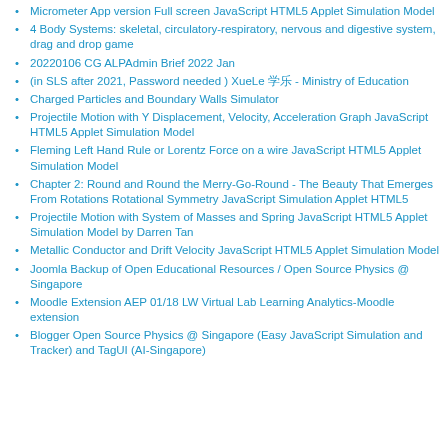Micrometer App version Full screen JavaScript HTML5 Applet Simulation Model
4 Body Systems: skeletal, circulatory-respiratory, nervous and digestive system, drag and drop game
20220106 CG ALPAdmin Brief 2022 Jan
(in SLS after 2021, Password needed ) XueLe 学乐 - Ministry of Education
Charged Particles and Boundary Walls Simulator
Projectile Motion with Y Displacement, Velocity, Acceleration Graph JavaScript HTML5 Applet Simulation Model
Fleming Left Hand Rule or Lorentz Force on a wire JavaScript HTML5 Applet Simulation Model
Chapter 2: Round and Round the Merry-Go-Round - The Beauty That Emerges From Rotations Rotational Symmetry JavaScript Simulation Applet HTML5
Projectile Motion with System of Masses and Spring JavaScript HTML5 Applet Simulation Model by Darren Tan
Metallic Conductor and Drift Velocity JavaScript HTML5 Applet Simulation Model
Joomla Backup of Open Educational Resources / Open Source Physics @ Singapore
Moodle Extension AEP 01/18 LW Virtual Lab Learning Analytics-Moodle extension
Blogger Open Source Physics @ Singapore (Easy JavaScript Simulation and Tracker) and TagUI (AI-Singapore)